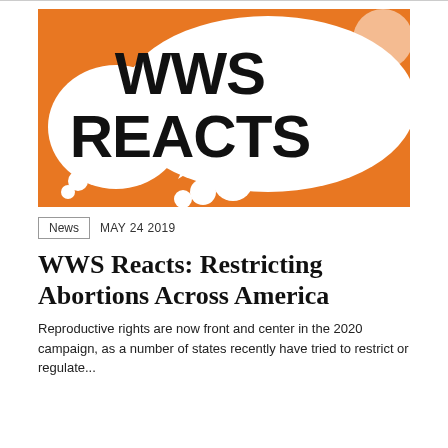[Figure (illustration): WWS Reacts graphic with orange background and white speech/thought bubbles. Bold black text reads 'WWS REACTS' on a large white speech bubble.]
News  MAY 24 2019
WWS Reacts: Restricting Abortions Across America
Reproductive rights are now front and center in the 2020 campaign, as a number of states recently have tried to restrict or regulate...